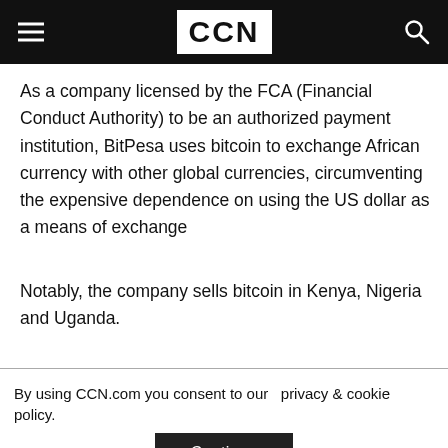CCN
As a company licensed by the FCA (Financial Conduct Authority) to be an authorized payment institution, BitPesa uses bitcoin to exchange African currency with other global currencies, circumventing the expensive dependence on using the US dollar as a means of exchange
Notably, the company sells bitcoin in Kenya, Nigeria and Uganda.
By using CCN.com you consent to our  privacy & cookie policy.